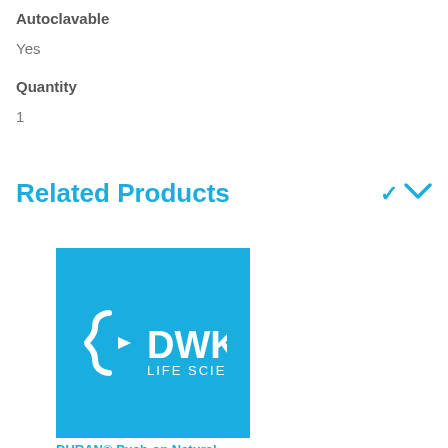Autoclavable
Yes
Quantity
1
Related Products
[Figure (logo): DWK Life Sciences logo — white logo on blue background square]
DURAN® Push-on Natural